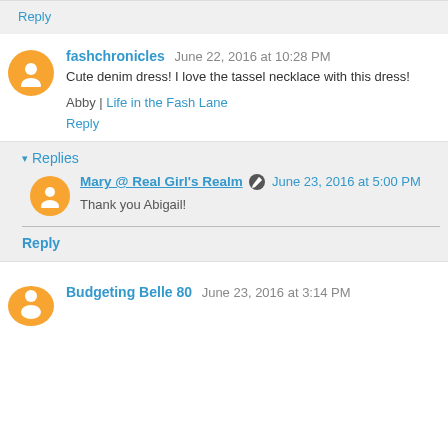Reply
fashchronicles  June 22, 2016 at 10:28 PM
Cute denim dress! I love the tassel necklace with this dress!
Abby | Life in the Fash Lane
Reply
Replies
Mary @ Real Girl's Realm  June 23, 2016 at 5:00 PM
Thank you Abigail!
Reply
Budgeting Belle 80  June 23, 2016 at 3:14 PM